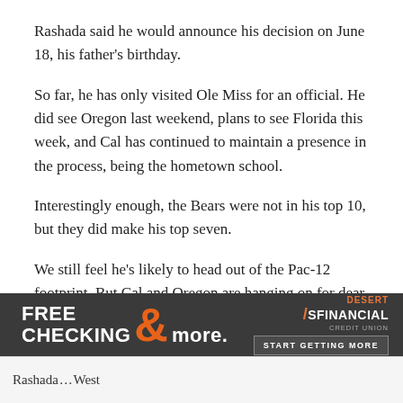Rashada said he would announce his decision on June 18, his father's birthday.
So far, he has only visited Ole Miss for an official. He did see Oregon last weekend, plans to see Florida this week, and Cal has continued to maintain a presence in the process, being the hometown school.
Interestingly enough, the Bears were not in his top 10, but they did make his top seven.
We still feel he's likely to head out of the Pac-12 footprint. But Cal and Oregon are hanging on for dear life in that recruitment.
[Figure (other): Advertisement banner for Desert Financial Credit Union - FREE CHECKING & more. START GETTING MORE]
Rashada ... West